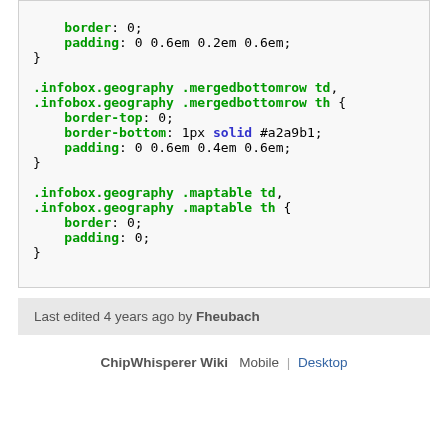border: 0;
    padding: 0 0.6em 0.2em 0.6em;
}

.infobox.geography .mergedbottomrow td,
.infobox.geography .mergedbottomrow th {
    border-top: 0;
    border-bottom: 1px solid #a2a9b1;
    padding: 0 0.6em 0.4em 0.6em;
}

.infobox.geography .maptable td,
.infobox.geography .maptable th {
    border: 0;
    padding: 0;
}
Last edited 4 years ago by Fheubach
ChipWhisperer Wiki  Mobile | Desktop